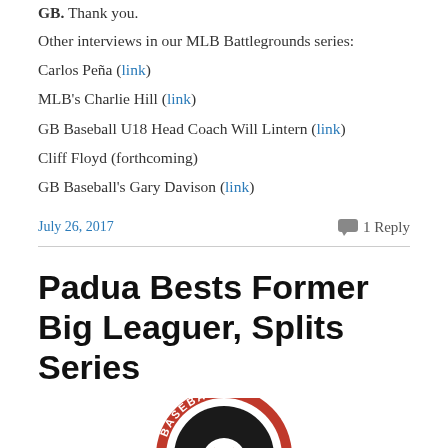GB. Thank you.
Other interviews in our MLB Battlegrounds series:
Carlos Peña (link)
MLB's Charlie Hill (link)
GB Baseball U18 Head Coach Will Lintern (link)
Cliff Floyd (forthcoming)
GB Baseball's Gary Davison (link)
July 26, 2017   1 Reply
Padua Bests Former Big Leaguer, Splits Series
[Figure (logo): Baseball logo — circular badge with red ring, 'BASEBALL' text, and a baseball graphic]